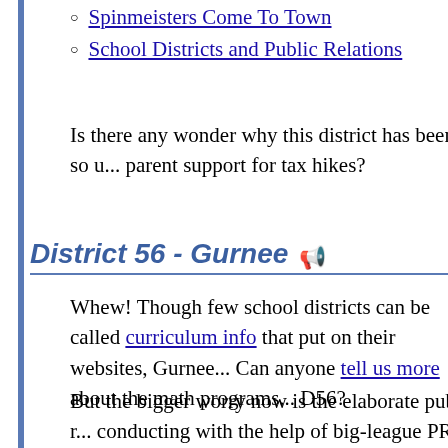Spinmeisters Come To Town
School Districts and Public Relations
Is there any wonder why this district has been so u... parent support for tax hikes?
District 56 - Gurnee
Whew! Though few school districts can be called ... curriculum info that put on their websites, Gurnee... Can anyone tell us more about the math programs... D56?
But the bigger worry now is the elaborate public r... conducting with the help of big-league PR firm, U... newspaper article reports,
The process of public engagement is being o... help of St. Louis-based Unicom-Arc. The dis... public relations firm $40,000 to consult for c...
To learn more about UNICOM-ARC and how sch... turning to slick public relations efforts, read these...